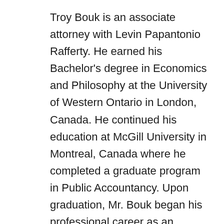Troy Bouk is an associate attorney with Levin Papantonio Rafferty. He earned his Bachelor's degree in Economics and Philosophy at the University of Western Ontario in London, Canada. He continued his education at McGill University in Montreal, Canada where he completed a graduate program in Public Accountancy. Upon graduation, Mr. Bouk began his professional career as an auditor for Ernst & Young, which is one of the world's largest professional services firms, and one of the world's Big Four auditing firms.